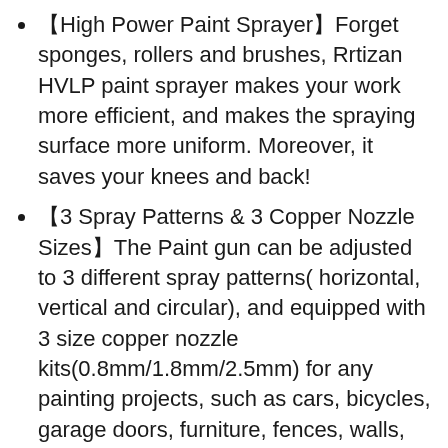【High Power Paint Sprayer】Forget sponges, rollers and brushes, Rrtizan HVLP paint sprayer makes your work more efficient, and makes the spraying surface more uniform. Moreover, it saves your knees and back!
【3 Spray Patterns & 3 Copper Nozzle Sizes】The Paint gun can be adjusted to 3 different spray patterns( horizontal, vertical and circular), and equipped with 3 size copper nozzle kits(0.8mm/1.8mm/2.5mm) for any painting projects, such as cars, bicycles, garage doors, furniture, fences, walls, cabinets etc.
【Upgrade Advantages】Using copper nozzles can withstand pressure more than plastic nozzles, less prone to